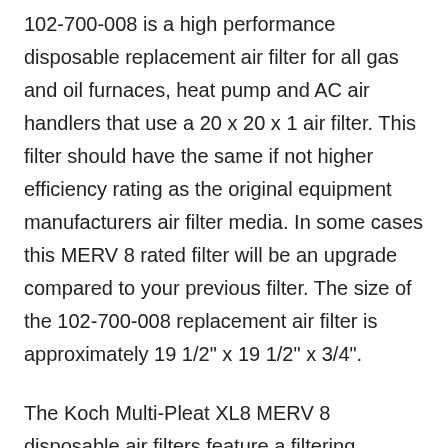102-700-008 is a high performance disposable replacement air filter for all gas and oil furnaces, heat pump and AC air handlers that use a 20 x 20 x 1 air filter. This filter should have the same if not higher efficiency rating as the original equipment manufacturers air filter media. In some cases this MERV 8 rated filter will be an upgrade compared to your previous filter. The size of the 102-700-008 replacement air filter is approximately 19 1/2" x 19 1/2" x 3/4".
The Koch Multi-Pleat XL8 MERV 8 disposable air filters feature a filtering medium that is more efficient and ecologically friendly than most other air filters on the market. Made entirely from recycled materials, this